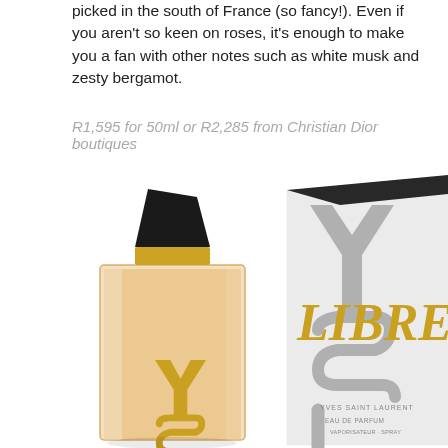picked in the south of France (so fancy!). Even if you aren't so keen on roses, it's enough to make you a fan with other notes such as white musk and zesty bergamot.
R1,595 for 50ml or R2,285 from Christian Dior boutiques
[Figure (photo): YSL Libre Eau de Parfum bottle (clear glass with gold YSL logo and gold cap band, black top cap) next to its box (white front with large silver YSL logo and gold LIBRE text, black side panel)]